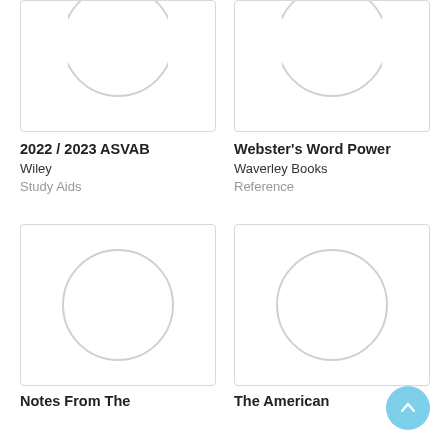[Figure (illustration): Book cover placeholder for 2022/2023 ASVAB — white card with light grey circle at top]
2022 / 2023 ASVAB
Wiley
Study Aids
[Figure (illustration): Book cover placeholder for Webster's Word Power — white card with light grey circle at top]
Webster's Word Power
Waverley Books
Reference
[Figure (illustration): Book cover placeholder for Notes From The — white card with light grey circle in center]
Notes From The
[Figure (illustration): Book cover placeholder for The American — white card with light grey circle in center]
The American